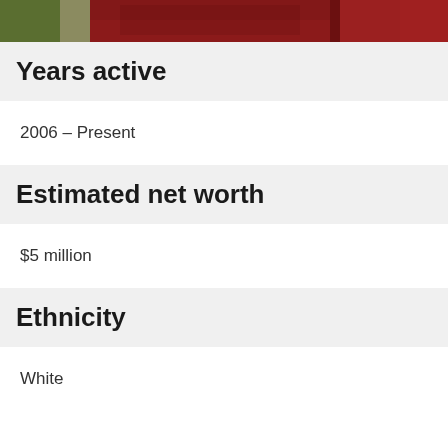[Figure (photo): Partial photo strip showing a person in red/dark clothing with a green background element, cropped at the top of the page.]
Years active
2006 – Present
Estimated net worth
$5 million
Ethnicity
White